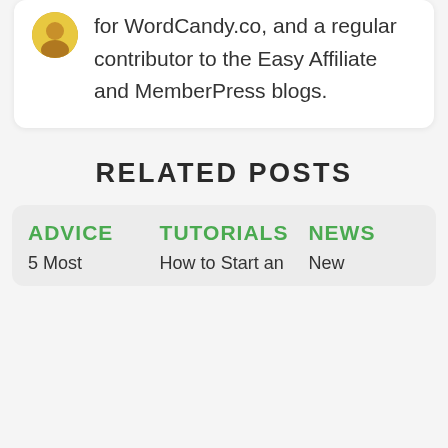for WordCandy.co, and a regular contributor to the Easy Affiliate and MemberPress blogs.
RELATED POSTS
ADVICE
5 Most
TUTORIALS
How to Start an
NEWS
New